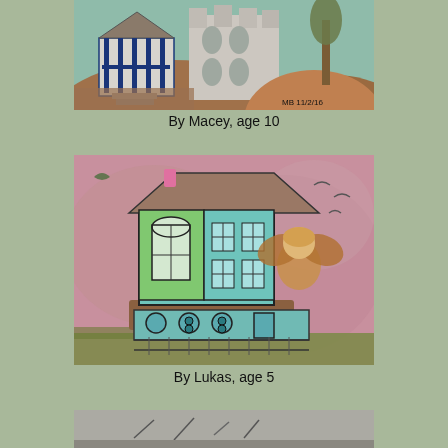[Figure (illustration): Child's watercolor painting of houses/buildings with a blue gazebo-like structure on the left, a white castle-like building in the center, and a tree on the right, against a green and brown background. Signed MB 11/2/16.]
By Macey, age 10
[Figure (illustration): Child's mixed-media artwork showing a teal/green multi-story building with arched windows on the left side, against a pink/mauve watercolor background. A figure with wings or a costume stands to the right of the building. Birds visible in the background. Green grass at the bottom.]
By Lukas, age 5
[Figure (photo): Partially visible third artwork at the bottom of the page, appears to be a grayscale or muted-tone image, cropped.]